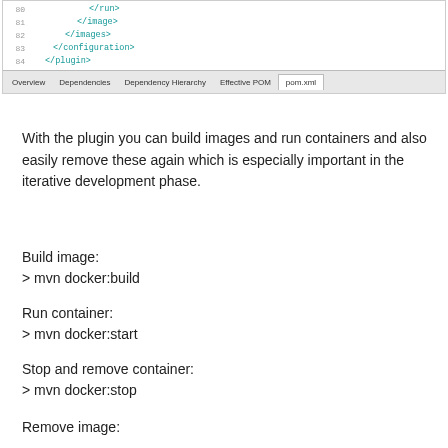[Figure (screenshot): Screenshot of an XML editor showing pom.xml code with closing tags (</run>, </antml:image>, </images>, </configuration>, </plugin>) at lines 80-84, with tabs bar showing Overview, Dependencies, Dependency Hierarchy, Effective POM, pom.xml tabs at the bottom.]
With the plugin you can build images and run containers and also easily remove these again which is especially important in the iterative development phase.
Build image:
> mvn docker:build
Run container:
> mvn docker:start
Stop and remove container:
> mvn docker:stop
Remove image: